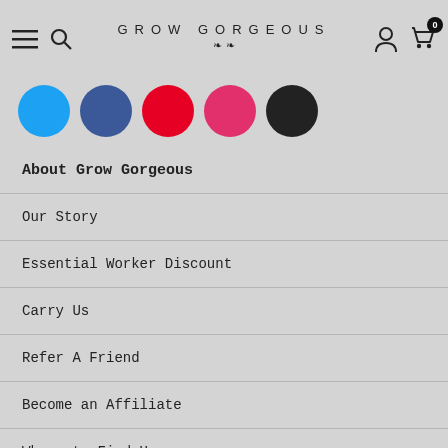GROW GORGEOUS
[Figure (illustration): Five partially visible social media icon circles: teal/Twitter, dark blue/Facebook, red/Pinterest, pink/Instagram, black circle]
About Grow Gorgeous
Our Story
Essential Worker Discount
Carry Us
Refer A Friend
Become an Affiliate
Where to Find Us
FAQs